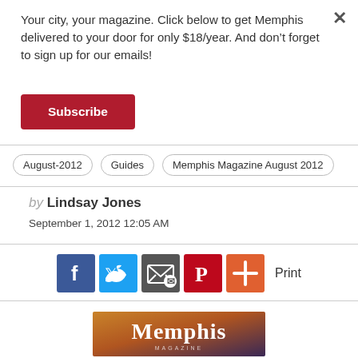Your city, your magazine. Click below to get Memphis delivered to your door for only $18/year. And don't forget to sign up for our emails!
Subscribe
August-2012   Guides   Memphis Magazine August 2012
by Lindsay Jones
September 1, 2012 12:05 AM
[Figure (infographic): Social sharing icons: Facebook, Twitter, Email, Pinterest, Plus button, and Print label]
[Figure (logo): Memphis Magazine logo on gradient background]